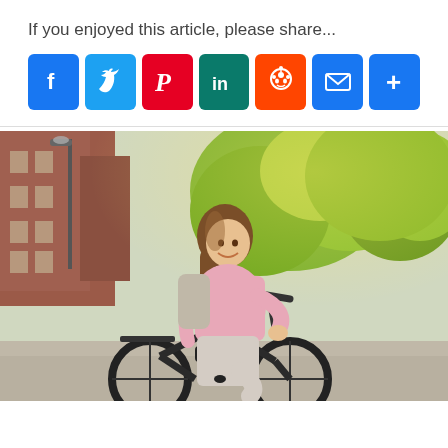If you enjoyed this article, please share...
[Figure (infographic): Social media share buttons: Facebook (blue), Twitter (blue), Pinterest (red), LinkedIn (teal), Reddit (orange), Email (blue), Share/More (blue)]
[Figure (photo): A smiling woman with long brown hair wearing a pink blouse and light-colored pants riding a black electric bicycle outdoors. Background shows trees and a brick building with sunlight.]